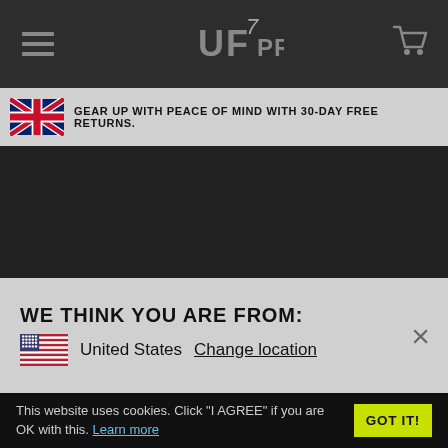UF PRO
GEAR UP WITH PEACE OF MIND WITH 30-DAY FREE RETURNS.
[Figure (other): Dark background hero image area]
WE THINK YOU ARE FROM: United States Change location
This website uses cookies. Click “I AGREE” if you are OK with this. Learn more GOT IT!